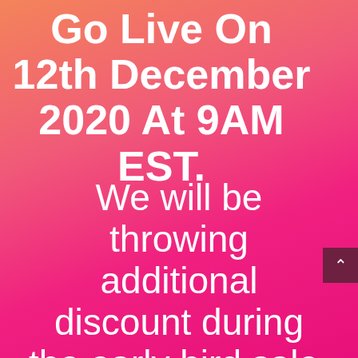Go Live On 12th December 2020 At 9AM EST.
We will be throwing additional discount during the early bird sale, so make sure you